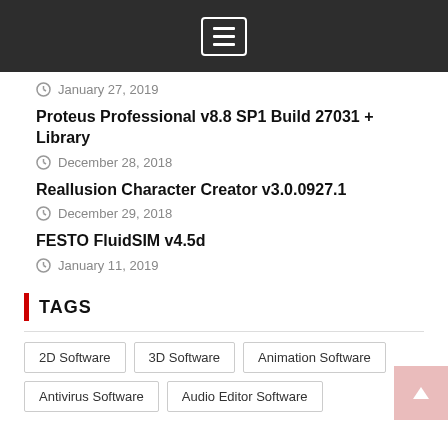Navigation/menu bar
January 27, 2019
Proteus Professional v8.8 SP1 Build 27031 + Library
December 28, 2018
Reallusion Character Creator v3.0.0927.1
December 29, 2018
FESTO FluidSIM v4.5d
January 11, 2019
TAGS
2D Software
3D Software
Animation Software
Antivirus Software
Audio Editor Software